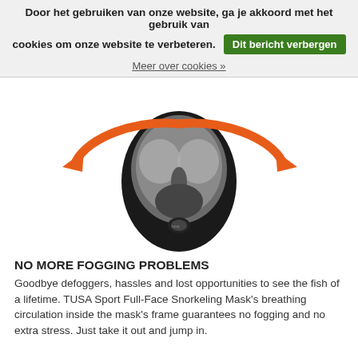Door het gebruiken van onze website, ga je akkoord met het gebruik van cookies om onze website te verbeteren. Dit bericht verbergen
Meer over cookies »
[Figure (photo): Full-face snorkeling mask (TUSA Sport) shown with orange curved arrows on both sides indicating breathing circulation around the mask's frame.]
NO MORE FOGGING PROBLEMS
Goodbye defoggers, hassles and lost opportunities to see the fish of a lifetime. TUSA Sport Full-Face Snorkeling Mask's breathing circulation inside the mask's frame guarantees no fogging and no extra stress. Just take it out and jump in.